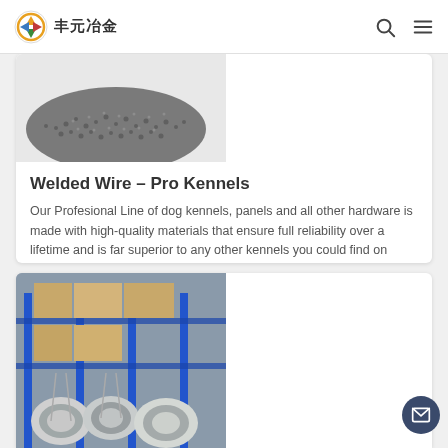丰元冶金 (logo) | search | menu
[Figure (photo): Dark gray granular material (metal pellets/powder) shown partially, top-left of card]
Welded Wire – Pro Kennels
Our Profesional Line of dog kennels, panels and all other hardware is made with high-quality materials that ensure full reliability over a lifetime and is far superior to any other kennels you could find on market today! They are manufactured using 16 gauge galvanized steel tubing and 6 gauge welded wire mesh. Designed and built with welfare of the
[Figure (photo): Warehouse photo showing large rolls of wire mesh/metal coils stacked on blue shelving racks]